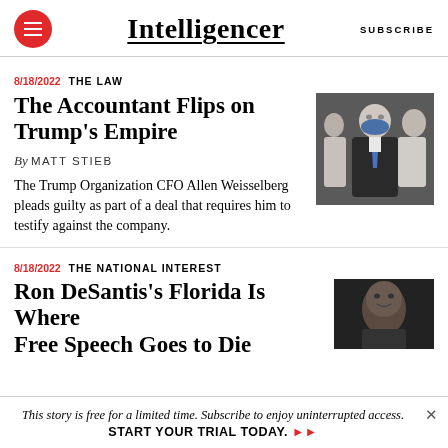Intelligencer  SUBSCRIBE
8/18/2022  THE LAW
The Accountant Flips on Trump's Empire
By MATT STIEB
The Trump Organization CFO Allen Weisselberg pleads guilty as part of a deal that requires him to testify against the company.
[Figure (photo): Photo of Allen Weisselberg wearing a blue tie and blue mask, with two people in background]
8/18/2022  THE NATIONAL INTEREST
Ron DeSantis's Florida Is Where Free Speech Goes to Die
[Figure (photo): Dark close-up photo of Ron DeSantis]
This story is free for a limited time. Subscribe to enjoy uninterrupted access.  START YOUR TRIAL TODAY. ➤➤